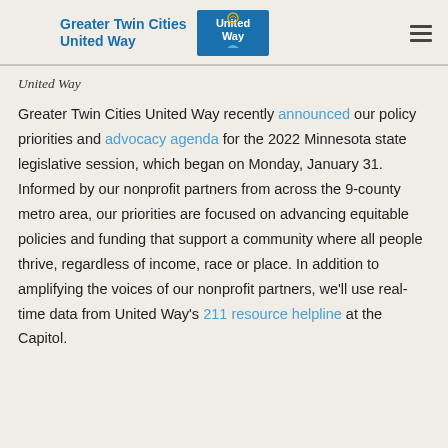Greater Twin Cities United Way
United Way
Greater Twin Cities United Way recently announced our policy priorities and advocacy agenda for the 2022 Minnesota state legislative session, which began on Monday, January 31. Informed by our nonprofit partners from across the 9-county metro area, our priorities are focused on advancing equitable policies and funding that support a community where all people thrive, regardless of income, race or place. In addition to amplifying the voices of our nonprofit partners, we’ll use real-time data from United Way’s 211 resource helpline at the Capitol.